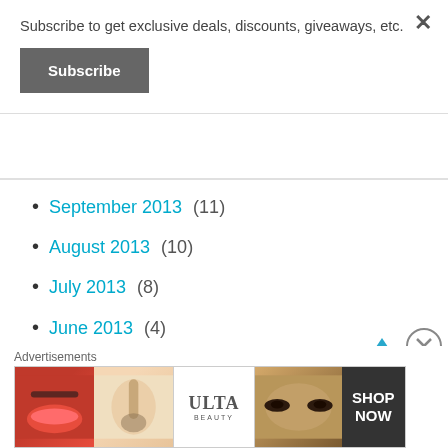Subscribe to get exclusive deals, discounts, giveaways, etc.
Subscribe
September 2013 (11)
August 2013 (10)
July 2013 (8)
June 2013 (4)
May 2013 (9)
April 2013 (8)
March 2013 (7)
Advertisements
[Figure (photo): Ulta Beauty advertisement banner with makeup photos and SHOP NOW text]